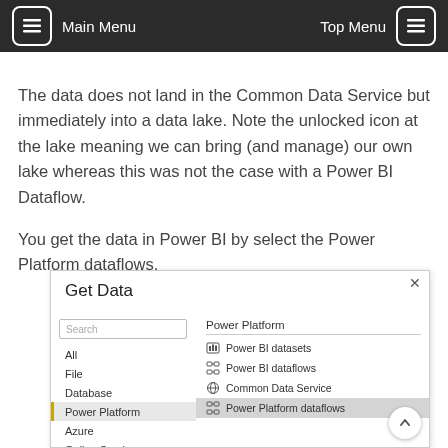Main Menu | Top Menu
The data does not land in the Common Data Service but immediately into a data lake. Note the unlocked icon at the lake meaning we can bring (and manage) our own lake whereas this was not the case with a Power BI Dataflow.
You get the data in Power BI by select the Power Platform dataflows.
[Figure (screenshot): Get Data dialog screenshot showing Power Platform category selected on the left with items: Power BI datasets, Power BI dataflows, Common Data Service, Power Platform dataflows (highlighted in grey)]